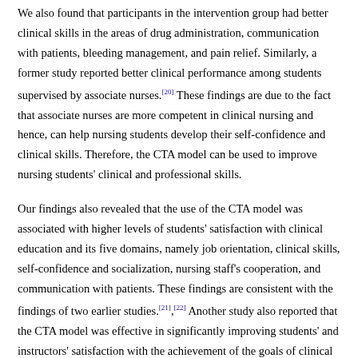We also found that participants in the intervention group had better clinical skills in the areas of drug administration, communication with patients, bleeding management, and pain relief. Similarly, a former study reported better clinical performance among students supervised by associate nurses.[20] These findings are due to the fact that associate nurses are more competent in clinical nursing and hence, can help nursing students develop their self-confidence and clinical skills. Therefore, the CTA model can be used to improve nursing students' clinical and professional skills.
Our findings also revealed that the use of the CTA model was associated with higher levels of students' satisfaction with clinical education and its five domains, namely job orientation, clinical skills, self-confidence and socialization, nursing staff's cooperation, and communication with patients. These findings are consistent with the findings of two earlier studies.[21],[22] Another study also reported that the CTA model was effective in significantly improving students' and instructors' satisfaction with the achievement of the goals of clinical education.[20] Satisfaction is a key factor behind the superiority and success of an organization because it significantly affects organizational profitability and customer loyalty. Similarly, enhancing students' satisfaction with clinical